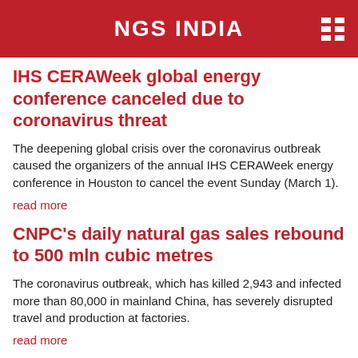NGS INDIA
IHS CERAWeek global energy conference canceled due to coronavirus threat
The deepening global crisis over the coronavirus outbreak caused the organizers of the annual IHS CERAWeek energy conference in Houston to cancel the event Sunday (March 1).
read more
CNPC's daily natural gas sales rebound to 500 mln cubic metres
The coronavirus outbreak, which has killed 2,943 and infected more than 80,000 in mainland China, has severely disrupted travel and production at factories.
read more
Bulgaria agrees deal to cut price of Russian gas imports by 40%